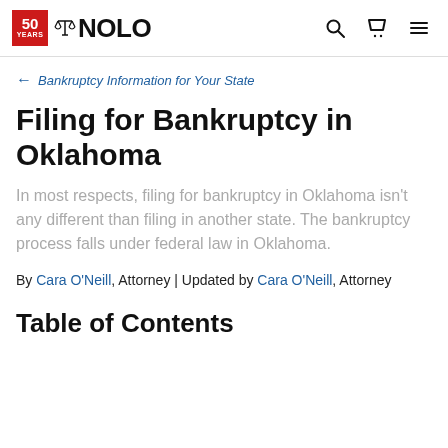NOLO — 50 YEARS
← Bankruptcy Information for Your State
Filing for Bankruptcy in Oklahoma
In most respects, filing for bankruptcy in Oklahoma isn't any different than filing in another state. The bankruptcy process falls under federal law in Oklahoma.
By Cara O'Neill, Attorney | Updated by Cara O'Neill, Attorney
Table of Contents